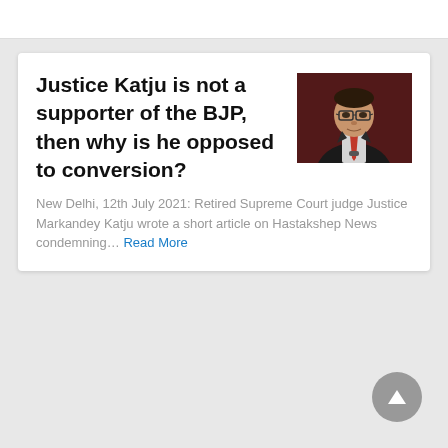Justice Katju is not a supporter of the BJP, then why is he opposed to conversion?
[Figure (photo): Photo of Justice Markandey Katju, a man wearing glasses and a dark suit, against a reddish background]
New Delhi, 12th July 2021: Retired Supreme Court judge Justice Markandey Katju wrote a short article on Hastakshep News condemning… Read More